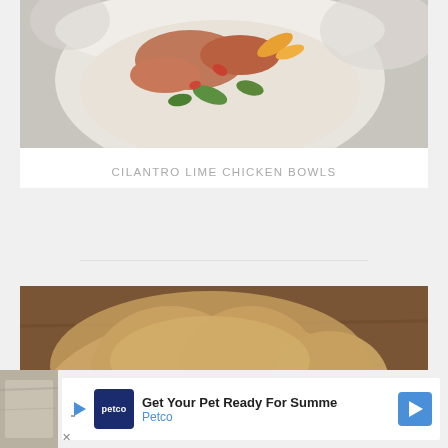[Figure (photo): A bowl of cilantro lime chicken with toppings including shredded chicken, rice, orange zest garnish and greens, viewed from above, with blurred white bowls in background]
CILANTRO LIME CHICKEN BOWLS
[Figure (photo): A sliced loaf of homemade bread on a wooden cutting board, showing the soft interior crumb, with slices fanned out in front of the loaf]
BREAD MACHINE DOUGH RECIPE
[Figure (other): Advertisement banner: Get Your Pet Ready For Summer - Petco ad with logo, play button, and arrow icon]